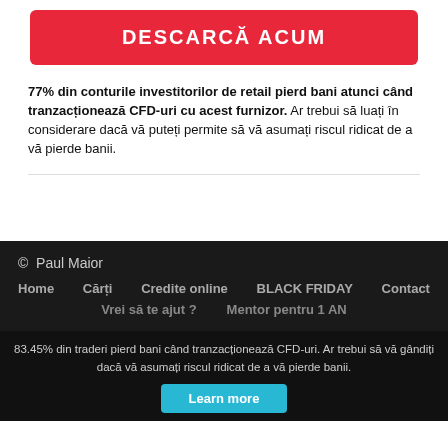DESCARCĂ ACUM
77% din conturile investitorilor de retail pierd bani atunci când tranzacționează CFD-uri cu acest furnizor. Ar trebui să luați în considerare dacă vă puteți permite să vă asumați riscul ridicat de a vă pierde banii.
© Paul Maior
Home   Cărți   Credite online   BLACK FRIDAY   Contact
Vrei să te ajut ?   Mentor pentru 1 AN
83.45% din traderi pierd bani când tranzacționează CFD-uri. Ar trebui să vă gândiți dacă vă asumați riscul ridicat de a vă pierde banii.
Learn more